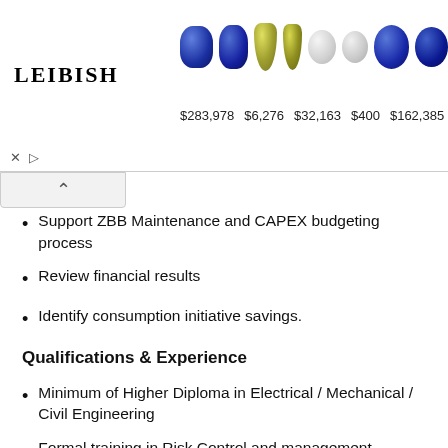[Figure (photo): LEIBISH advertisement banner showing gemstones (sapphires, yellow gems, white diamonds) with prices: $283,978, $6,276, $32,163, $400, $162,385]
Support ZBB Maintenance and CAPEX budgeting process
Review financial results
Identify consumption initiative savings.
Qualifications & Experience
Minimum of Higher Diploma in Electrical / Mechanical / Civil Engineering
Formal training in Risk Control and management.
Some mechanical & civil knowledge.